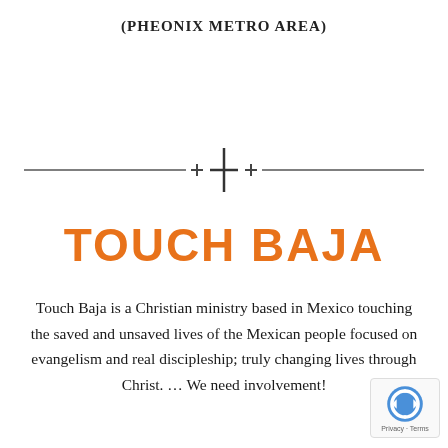(PHEONIX METRO AREA)
[Figure (illustration): Decorative divider with cross/plus symbols and horizontal lines]
TOUCH BAJA
Touch Baja is a Christian ministry based in Mexico touching the saved and unsaved lives of the Mexican people focused on evangelism and real discipleship; truly changing lives through Christ. ... We need involvement!